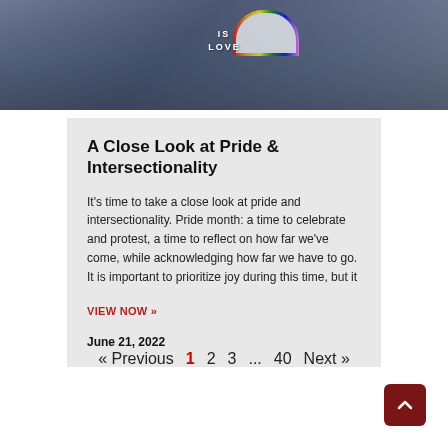[Figure (photo): Group of people at a Pride event, with a rainbow visible in the background and a 'Love is Love' sign]
A Close Look at Pride & Intersectionality
It's time to take a close look at pride and intersectionality. Pride month: a time to celebrate and protest, a time to reflect on how far we've come, while acknowledging how far we have to go. It is important to prioritize joy during this time, but it
VIEW NOW »
June 21, 2022
« Previous 1 2 3 ... 40 Next »